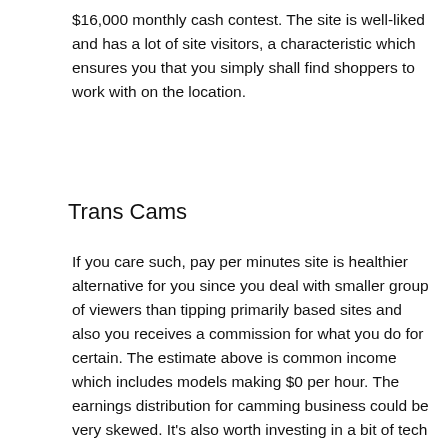$16,000 monthly cash contest. The site is well-liked and has a lot of site visitors, a characteristic which ensures you that you simply shall find shoppers to work with on the location.
Trans Cams
If you care such, pay per minutes site is healthier alternative for you since you deal with smaller group of viewers than tipping primarily based sites and also you receives a commission for what you do for certain. The estimate above is common income which includes models making $0 per hour. The earnings distribution for camming business could be very skewed. It's also worth investing in a bit of tech on your PC if you wish to make a real go of webcamming – specifically a large second monitor and a great wi-fi keyboard. That's as a result of a lot of the work involved in interacting with users is going